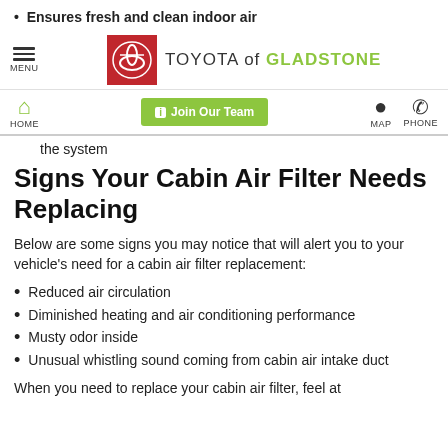Ensures fresh and clean indoor air
MENU | Toyota of Gladstone | HOME | Join Our Team | MAP | PHONE
the system
Signs Your Cabin Air Filter Needs Replacing
Below are some signs you may notice that will alert you to your vehicle's need for a cabin air filter replacement:
Reduced air circulation
Diminished heating and air conditioning performance
Musty odor inside
Unusual whistling sound coming from cabin air intake duct
When you need to replace your cabin air filter, feel at